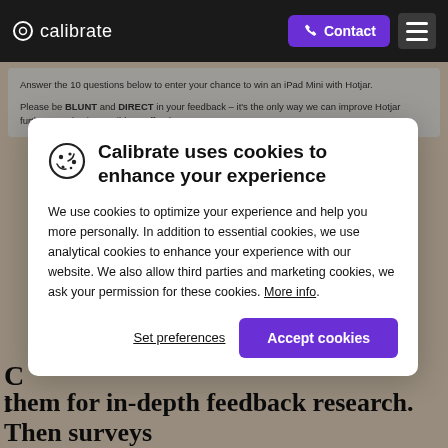calibrate | Contact
Answer the 10 questions below to enter your chance to win an iPad Mini with Hotjar.
Please be BLUNT and DIRECT in your feedback – it's the only way we can improve Hotjar further. It's also impossible to offend us!
Calibrate uses cookies to enhance your experience
We use cookies to optimize your experience and help you more personally. In addition to essential cookies, we use analytical cookies to enhance your experience with our website. We also allow third parties and marketing cookies, we ask your permission for these cookies. More info.
Set preferences
Accept cookies
them for in-depth feedback research. Then surveys